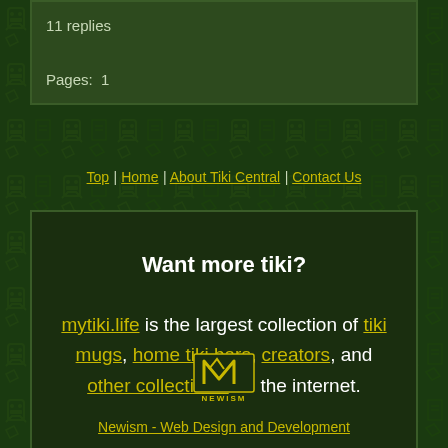11 replies

Pages:  1
Top | Home | About Tiki Central | Contact Us
Want more tiki?

mytiki.life is the largest collection of tiki mugs, home tiki bars, creators, and other collectibles on the internet.
[Figure (logo): Newism logo - stylized N inside a square bracket design with text NEWISM below]
Newism - Web Design and Development